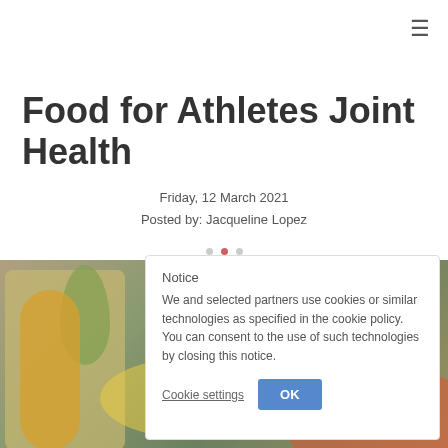≡
Food for Athletes Joint Health
Friday, 12 March 2021
Posted by: Jacqueline Lopez
[Figure (photo): Photo of food preparation — hands chopping vegetables, olive oil bottle, corn, and colorful vegetables on a table]
Notice
We and selected partners use cookies or similar technologies as specified in the cookie policy. You can consent to the use of such technologies by closing this notice.
Cookie settings   OK